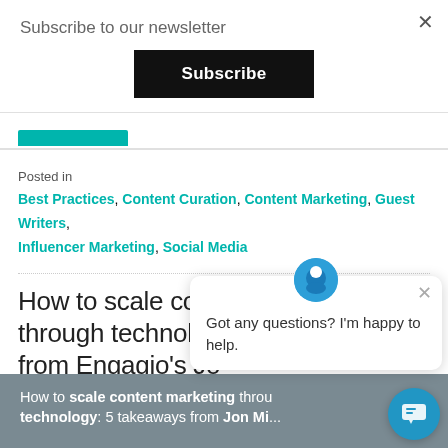Subscribe to our newsletter
Subscribe
Posted in
Best Practices, Content Curation, Content Marketing, Guest Writers, Influencer Marketing, Social Media
How to scale content marketing through technology from Engagio's Jo...
Posted on February 25, 2016
[Figure (screenshot): Article thumbnail showing text: How to scale content marketing through technology: 5 takeaways from Jon Mi...]
Got any questions? I'm happy to help.